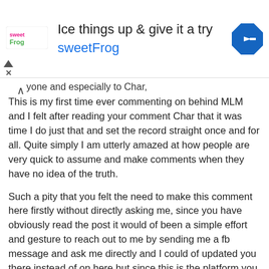[Figure (screenshot): Advertisement banner for sweetFrog frozen yogurt. Shows sweetFrog logo on left, headline 'Ice things up & give it a try', brand name 'sweetFrog' in teal, and a blue navigation arrow icon on the right. Play and close button icons on far left.]
yone and especially to Char,
This is my first time ever commenting on behind MLM and I felt after reading your comment Char that it was time I do just that and set the record straight once and for all. Quite simply I am utterly amazed at how people are very quick to assume and make comments when they have no idea of the truth.
Such a pity that you felt the need to make this comment here firstly without directly asking me, since you have obviously read the post it would of been a simple effort and gesture to reach out to me by sending me a fb message and ask me directly and I could of updated you there instead of on here but since this is the platform you have chosen I will update you on here and rather than assume I can tell you.
I am NOT in another MLM opportunity and I will NEVER be again. I wake up every single morning sick to my stomach at the thought of it, what we have went through and what we